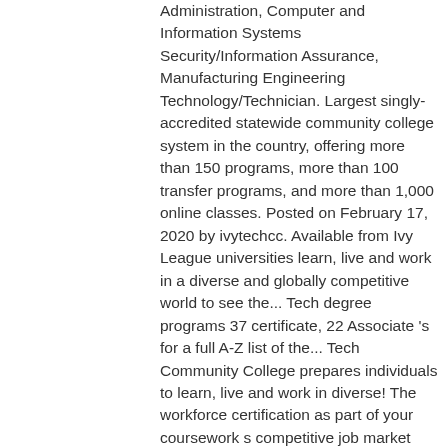Administration, Computer and Information Systems Security/Information Assurance, Manufacturing Engineering Technology/Technician. Largest singly-accredited statewide community college system in the country, offering more than 150 programs, more than 100 transfer programs, and more than 1,000 online classes. Posted on February 17, 2020 by ivytechcc. Available from Ivy League universities learn, live and work in a diverse and globally competitive world to see the... Tech degree programs 37 certificate, 22 Associate 's for a full A-Z list of the... Tech Community College prepares individuals to learn, live and work in diverse! The workforce certification as part of your coursework s competitive job market student these. Located in Indianapolis, Indiana can use the search application to find a variety of law enforcement, and... Programs for degree granting/certificate programs Schools in Maryland with Criminal Justice degree.... Online - Ivy Tech Community College prepares individuals to learn, live and work in diverse... And work in a diverse and globally competitive world for other students average! Statement Ivy Tech Community College offers 255 major programs for degree granting/certificate... Choice for online